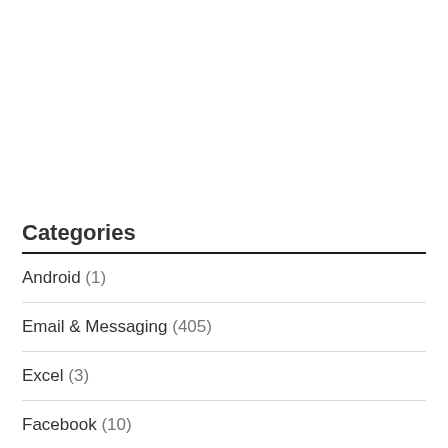Categories
Android (1)
Email & Messaging (405)
Excel (3)
Facebook (10)